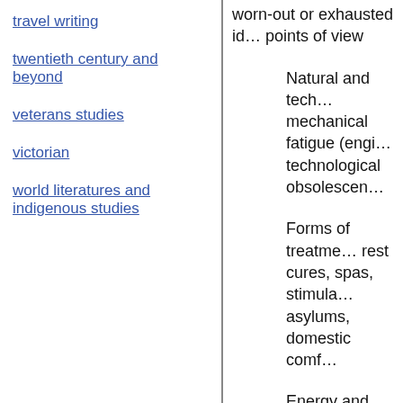travel writing
twentieth century and beyond
veterans studies
victorian
world literatures and indigenous studies
worn-out or exhausted id... points of view
Natural and tech... mechanical fatigue (engi... technological obsolescen...
Forms of treatme... rest cures, spas, stimula... asylums, domestic comf...
Energy and fatig... identity
For a teaching ro... regarding the relations b... Victorian literature and c... and challenges of teachi... levels? (Roundtable, cont...